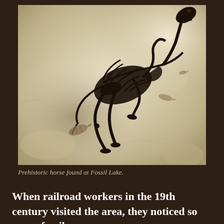[Figure (photo): Fossil skeleton of a prehistoric horse embedded in light-colored rock matrix, displayed in a rearing pose. Several smaller fish fossils are also visible in the surrounding rock. The skeleton is dark/black against the cream and tan stone background.]
Prehistoric horse found at Fossil Lake.
When railroad workers in the 19th century visited the area, they noticed so many fossils